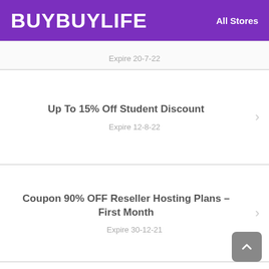BUYBUYLIFE  All Stores
Expire 20-7-22
Up To 15% Off Student Discount
Expire 12-8-22
Coupon 90% OFF Reseller Hosting Plans – First Month
Expire 30-12-21
Shop And Save W/ Emirates UK 2018 Christmas Deals & Discounts
Expire 5-7-22